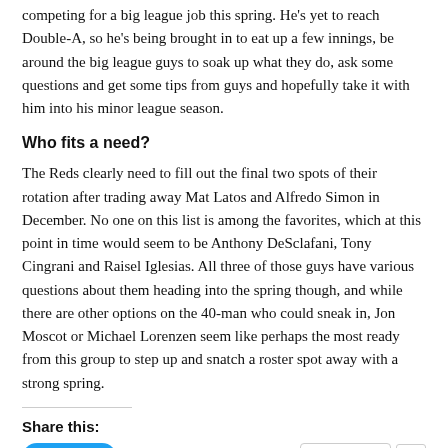competing for a big league job this spring. He's yet to reach Double-A, so he's being brought in to eat up a few innings, be around the big league guys to soak up what they do, ask some questions and get some tips from guys and hopefully take it with him into his minor league season.
Who fits a need?
The Reds clearly need to fill out the final two spots of their rotation after trading away Mat Latos and Alfredo Simon in December. No one on this list is among the favorites, which at this point in time would seem to be Anthony DeSclafani, Tony Cingrani and Raisel Iglesias. All three of those guys have various questions about them heading into the spring though, and while there are other options on the 40-man who could sneak in, Jon Moscot or Michael Lorenzen seem like perhaps the most ready from this group to step up and snatch a roster spot away with a strong spring.
Share this:
[Figure (other): Tweet button and Pocket button with count of 1]